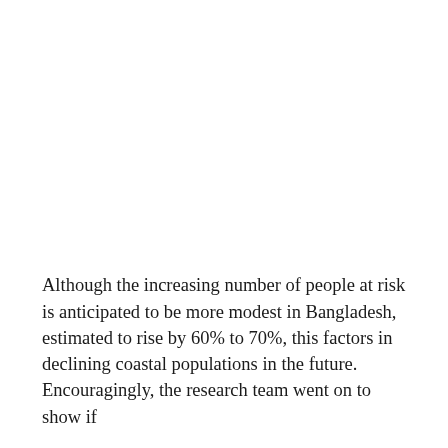Although the increasing number of people at risk is anticipated to be more modest in Bangladesh, estimated to rise by 60% to 70%, this factors in declining coastal populations in the future. Encouragingly, the research team went on to show if